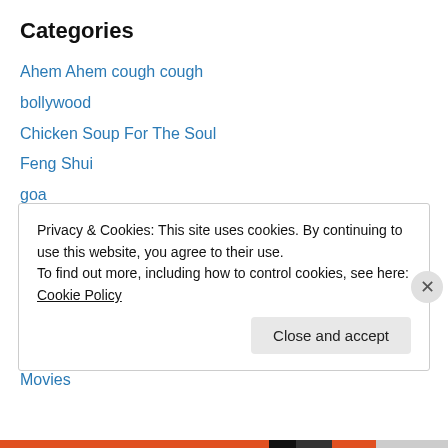Categories
Ahem Ahem cough cough
bollywood
Chicken Soup For The Soul
Feng Shui
goa
India n Me
justice in India
marriage
Most Read
movie reviews
Movies
Privacy & Cookies: This site uses cookies. By continuing to use this website, you agree to their use.
To find out more, including how to control cookies, see here: Cookie Policy
Close and accept